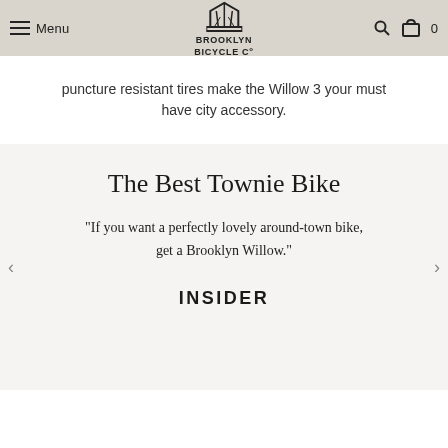Menu | Brooklyn Bicycle Co. | Search | Cart 0
puncture resistant tires make the Willow 3 your must have city accessory.
The Best Townie Bike
"If you want a perfectly lovely around-town bike, get a Brooklyn Willow."
INSIDER